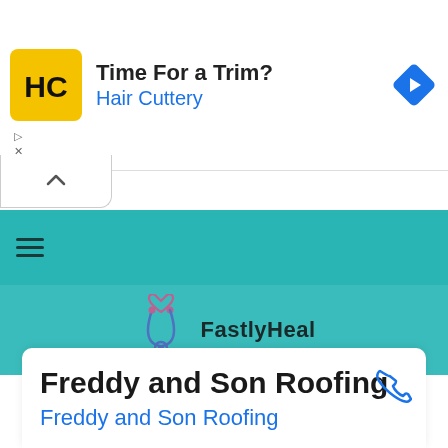[Figure (screenshot): Hair Cuttery advertisement banner with yellow HC logo, text 'Time For a Trim? Hair Cuttery', and blue navigation arrow icon on the right]
[Figure (logo): FastlyHeal logo with stethoscope icon and bold text 'FastlyHeal' on teal background]
Freddy and Son Roofing
Freddy and Son Roofing